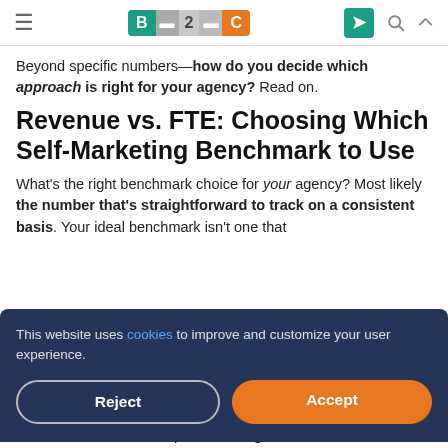B2C logo header with navigation icons
Beyond specific numbers—how do you decide which approach is right for your agency? Read on.
Revenue vs. FTE: Choosing Which Self-Marketing Benchmark to Use
What's the right benchmark choice for your agency? Most likely the number that's straightforward to track on a consistent basis. Your ideal benchmark isn't one that
This website uses cookies to improve and customize your user experience.
baseline... and then compare those figures to the